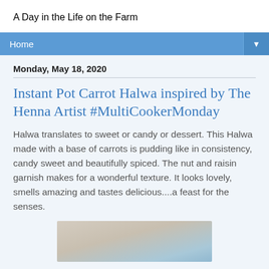A Day in the Life on the Farm
Home
Monday, May 18, 2020
Instant Pot Carrot Halwa inspired by The Henna Artist #MultiCookerMonday
Halwa translates to sweet or candy or dessert.  This Halwa made with a base of carrots is pudding like in consistency, candy sweet and beautifully spiced.  The nut and raisin garnish makes for a wonderful texture.  It looks lovely, smells amazing and tastes delicious....a feast for the senses.
[Figure (photo): Close-up photo of what appears to be a bowl or pot, partially visible at the bottom of the page]